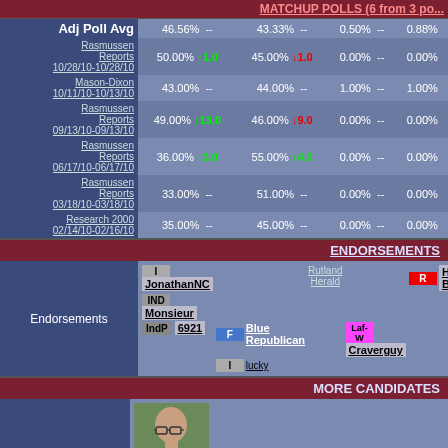MATCHUP POLLS (6 from 3 po...
| Source | Candidate 1 % |  | Candidate 2 % |  | Candidate 3 % |  | Candidate 4 % |
| --- | --- | --- | --- | --- | --- | --- | --- |
| Adj Poll Avg | 46.56% | -- | 43.33% | -- | 0.50% | -- | 0.88% |
| Rasmussen Reports 10/28/10-10/28/10 | 50.00% | ↑1.0 | 45.00% | ↓1.0 | 0.00% | -- | 0.00% |
| Mason-Dixon 10/11/10-10/13/10 | 43.00% | -- | 44.00% | -- | 1.00% | -- | 1.00% |
| Rasmussen Reports 09/13/10-09/13/10 | 49.00% | ↑13.0 | 46.00% | ↓9.0 | 0.00% | -- | 0.00% |
| Rasmussen Reports 06/17/10-06/17/10 | 36.00% | ↑3.0 | 55.00% | ↑4.0 | 0.00% | -- | 0.00% |
| Rasmussen Reports 03/18/10-03/18/10 | 33.00% | -- | 51.00% | -- | 0.00% | -- | 0.00% |
| Research 2000 02/14/10-02/16/10 | 35.00% | -- | 45.00% | -- | 0.00% | -- | 0.00% |
ENDORSEMENTS
Endorsements: I JonathanNC, IND Monsieur, IndP 6921, Rutland Herald, F Blue Republican, I Lucky, R Hikikomori Blitzkrieg!, LBT, Laf-W Craverguy
MORE CANDIDATES
[Figure (photo): Photo of a bald man with glasses wearing a tan shirt]